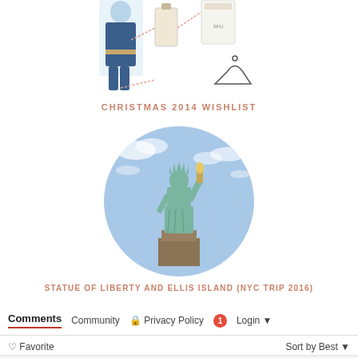[Figure (illustration): Top portion of a Christmas wishlist infographic showing fashion items and accessories with connecting lines]
CHRISTMAS 2014 WISHLIST
[Figure (photo): Circular cropped photo of the Statue of Liberty against a blue sky]
STATUE OF LIBERTY AND ELLIS ISLAND (NYC TRIP 2016)
Comments  Community  Privacy Policy  1  Login  Favorite  Sort by Best